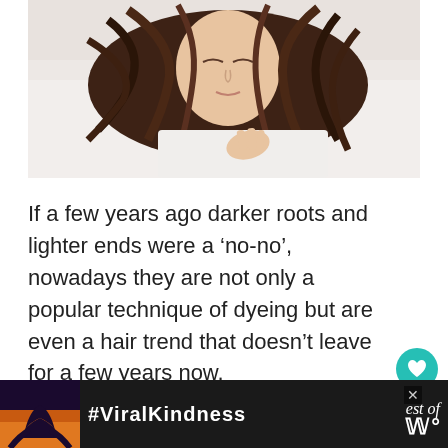[Figure (photo): Young woman with dark-to-auburn hair lying on white bed/pillow, viewed from above, wearing white shirt, eyes closed, hair spread out]
If a few years ago darker roots and lighter ends were a ‘no-no’, nowadays they are not only a popular technique of dyeing but are even a hair trend that doesn’t leave for a few years now.
[Figure (infographic): Advertisement banner: dark background with hands forming heart shape, '#ViralKindness' text in white, with 'est of' and 'W' logo visible, and an X close button]